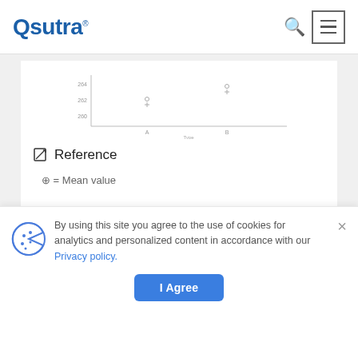Qsutra
[Figure (other): Partial scatter/box plot chart, cropped at top of content area showing values around 264-266 with Type on x-axis]
Reference
⊕ = Mean value
By using this site you agree to the use of cookies for analytics and personalized content in accordance with our Privacy policy.
I Agree